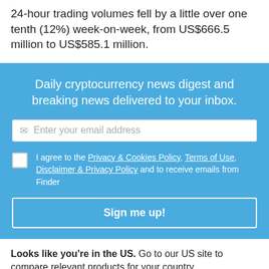24-hour trading volumes fell by a little over one tenth (12%) week-on-week, from US$666.5 million to US$585.1 million.
[Figure (infographic): Blue newsletter signup box with title 'Daily cryptocurrency news digest and breaking news delivered to your inbox.', an email input field with placeholder 'Enter your email address', a checkbox with text about agreeing to Privacy & Cookies Policy, Terms of Use, Disclaimer & Privacy Policy and receiving emails from Finder, and a 'Sign me up!' button.]
Looks like you're in the US. Go to our US site to compare relevant products for your country.
Go to Finder US
No, stay on this page